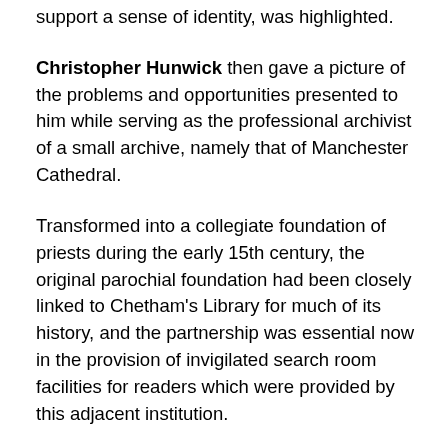support a sense of identity, was highlighted.
Christopher Hunwick then gave a picture of the problems and opportunities presented to him while serving as the professional archivist of a small archive, namely that of Manchester Cathedral.
Transformed into a collegiate foundation of priests during the early 15th century, the original parochial foundation had been closely linked to Chetham's Library for much of its history, and the partnership was essential now in the provision of invigilated search room facilities for readers which were provided by this adjacent institution.
He pointed out the distinctive quality of some of the records, which included important information in the Banns Books about marriages which did not proceed and which was not therefore, duplicated in the series of marriage